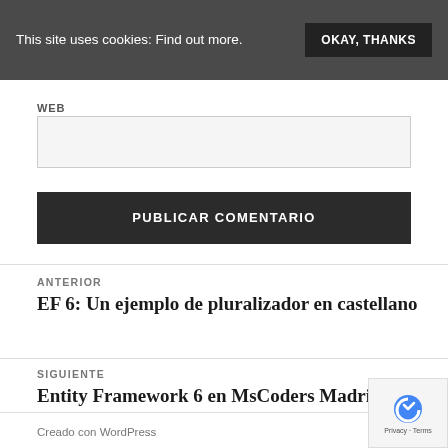This site uses cookies: Find out more.
OKAY, THANKS
WEB
PUBLICAR COMENTARIO
ANTERIOR
EF 6: Un ejemplo de pluralizador en castellano
SIGUIENTE
Entity Framework 6 en MsCoders Madrid
Creado con WordPress